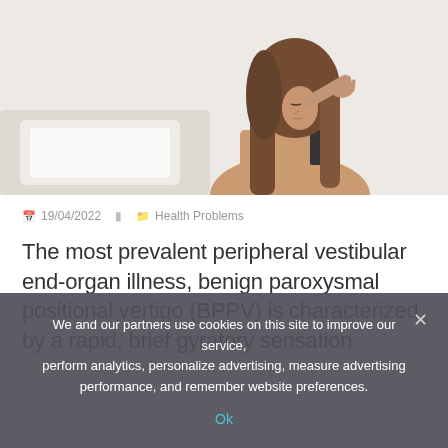[Figure (photo): Woman with long brown hair sitting on a bed, holding her hand to her temple with eyes closed, appearing to have a headache or dizziness, against a white brick wall background]
19/04/2022   Health Problems
The most prevalent peripheral vestibular end-organ illness, benign paroxysmal positional vertigo (BPPV) is characterized by a rapid, brief gyratory sensation
We and our partners use cookies on this site to improve our service, perform analytics, personalize advertising, measure advertising performance, and remember website preferences.